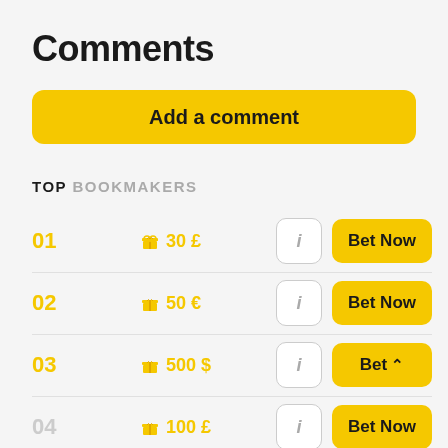Comments
Add a comment
TOP BOOKMAKERS
01  🎁 30 £  i  Bet Now
02  🎁 50 €  i  Bet Now
03  🎁 500 $  i  Bet
04  🎁 100 £  i  Bet Now